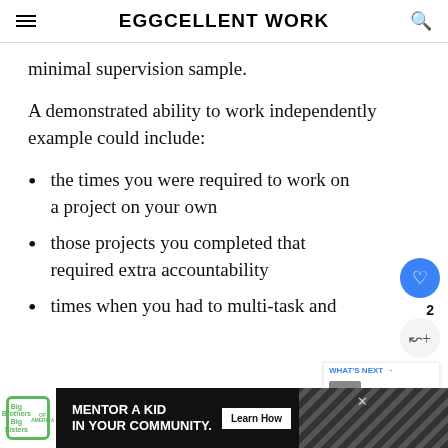EGGCELLENT WORK
minimal supervision sample.
A demonstrated ability to work independently example could include:
the times you were required to work on a project on your own
those projects you completed that required extra accountability
times when you had to multi-task and